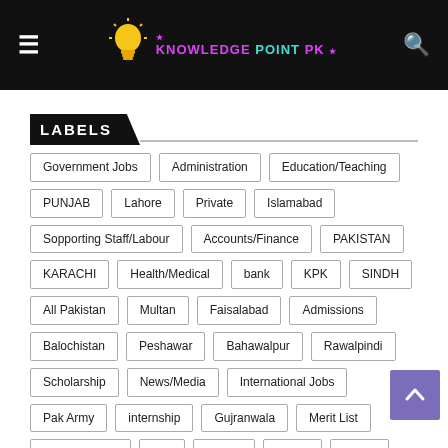Knowledge Point PK - navigation header with menu and search icons
LABELS
Government Jobs
Administration
Education/Teaching
PUNJAB
Lahore
Private
Islamabad
Sopporting Staff/Labour
Accounts/Finance
PAKISTAN
KARACHI
Health/Medical
bank
KPK
SINDH
All Pakistan
Multan
Faisalabad
Admissions
Balochistan
Peshawar
Bahawalpur
Rawalpindi
Scholarship
News/Media
International Jobs
Pak Army
internship
Gujranwala
Merit List
bahawalnagar
IUB
Quetta
PPSC
Police
AJK
Sialkot
Results
Sargodha
Sahiwal
Okara
Rahim Yar Khan
Wapda